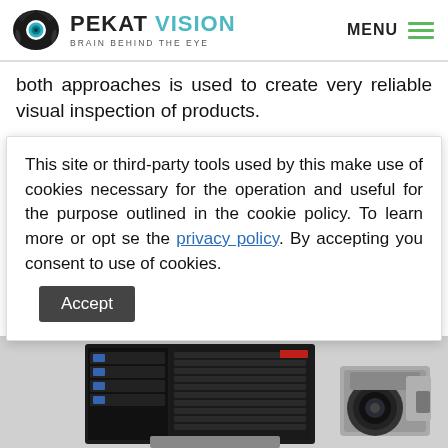PEKAT VISION | BRAIN BEHIND THE EYE | MENU
both approaches is used to create very reliable visual inspection of products.
Compared to standard image processing methods that run on normal computers, AI
This site or third-party tools used by this make use of cookies necessary for the operation and useful for the purpose outlined in the cookie policy. To learn more or opt se the privacy policy. By accepting you consent to use of cookies.
[Figure (photo): Photo of computer vision hardware: a rack-mount computing unit and camera equipment]